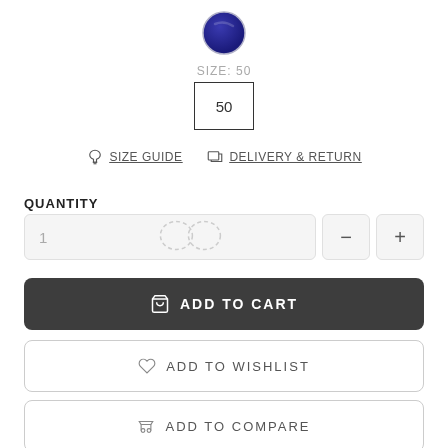[Figure (illustration): Dark blue filled circle color swatch with slight border/shadow effect]
SIZE: 50
[Figure (other): Size selector box showing '50' with black border]
SIZE GUIDE
DELIVERY & RETURN
QUANTITY
1
[Figure (other): Infinity symbol (dashed outline) overlaid on quantity input]
ADD TO CART
ADD TO WISHLIST
ADD TO COMPARE